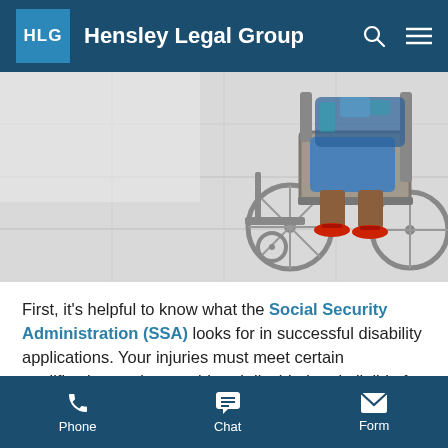HLG Hensley Legal Group
[Figure (photo): A person sitting in a wheelchair, viewed from the side/behind. Red sandals on the footrest are visible. The setting appears to be an indoor tiled floor.]
First, it's helpful to know what the Social Security Administration (SSA) looks for in successful disability applications. Your injuries must meet certain qualifications to be considered disabled and eligible for benefits. Depending on what type of disability program you apply for, you may have to prove you earn below a
Phone  Chat  Form